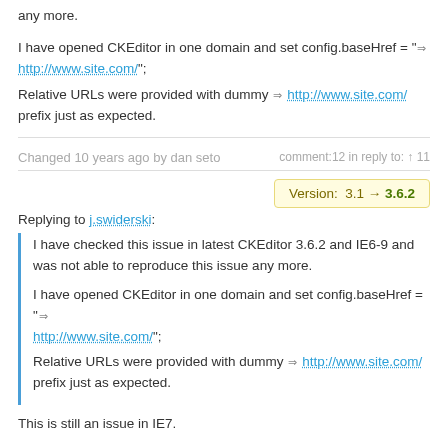any more.

I have opened CKEditor in one domain and set config.baseHref = "→ http://www.site.com/";
Relative URLs were provided with dummy → http://www.site.com/ prefix just as expected.
Changed 10 years ago by dan seto    comment:12 in reply to: ↑ 11
Version: 3.1 → 3.6.2
Replying to j.swiderski:
I have checked this issue in latest CKEditor 3.6.2 and IE6-9 and was not able to reproduce this issue any more.

I have opened CKEditor in one domain and set config.baseHref = "→ http://www.site.com/";
Relative URLs were provided with dummy → http://www.site.com/ prefix just as expected.
This is still an issue in IE7.
IE is not respecting the base href value at all
Changed 10 years ago by Jakub Ś    comment:13
@abcito any chance for reproducible TC?

As I have written before I have checked this issue in CKEditor freshly